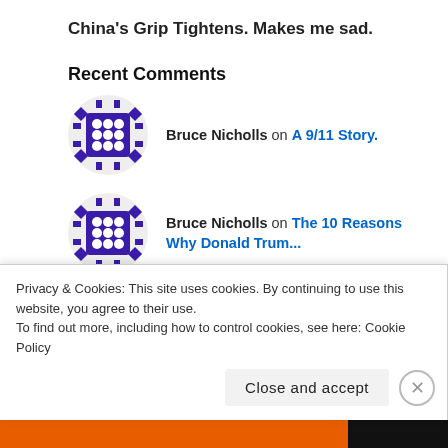China's Grip Tightens. Makes me sad.
Recent Comments
Bruce Nicholls on A 9/11 Story.
Bruce Nicholls on The 10 Reasons Why Donald Trum...
just another wordpre... on Get Your Priorities Straight:...
divisivetruth on The UK declares its independen...
Privacy & Cookies: This site uses cookies. By continuing to use this website, you agree to their use.
To find out more, including how to control cookies, see here: Cookie Policy
Close and accept